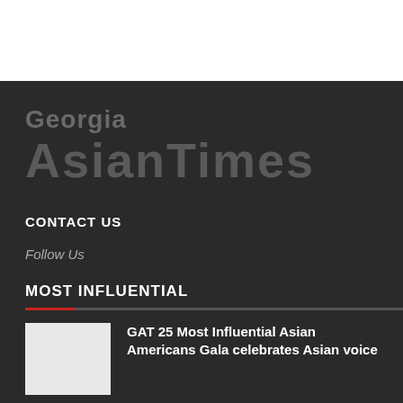[Figure (logo): Georgia Asian Times logo in dark gray on dark background]
CONTACT US
Follow Us
MOST INFLUENTIAL
GAT 25 Most Influential Asian Americans Gala celebrates Asian voice